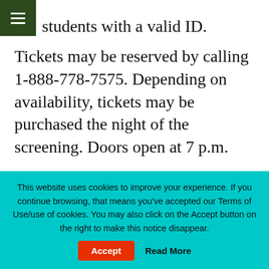☰
students with a valid ID.
Tickets may be reserved by calling 1-888-778-7575. Depending on availability, tickets may be purchased the night of the screening. Doors open at 7 p.m.
In the Haunts of Rip Van Winkle and more 1906 films at the Empire State Railway Museum.
Screening of 1906 films at the British Film...
This website uses cookies to improve your experience. If you continue browsing, that means you've accepted our Terms of Use/use of cookies. You may also click on the Accept button on the right to make this notice disappear.